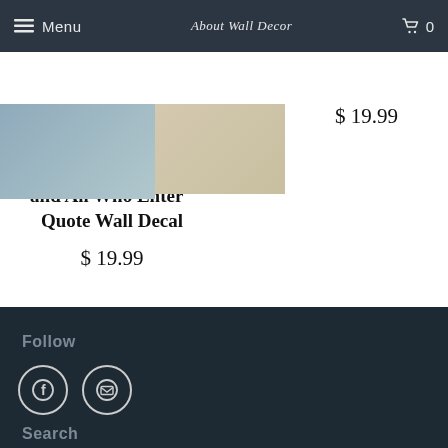Menu | About Wall Decor | 0
"Dance X Sing" Metal Sign 10%-42%
$ 19.99
[Figure (photo): Product image thumbnails of wall decor items]
"Bless This Home and All Who Enter" Quote Wall Decal
$ 19.99
Follow
[Figure (illustration): Facebook circle icon and Email/envelope circle icon]
Search